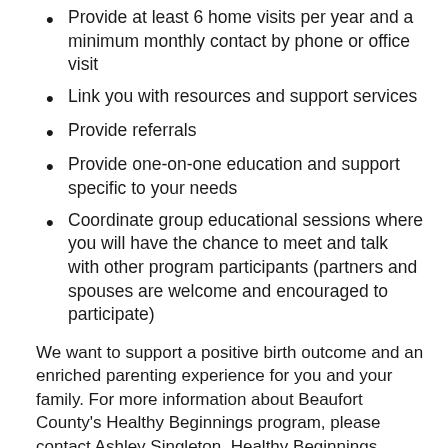Provide at least 6 home visits per year and a minimum monthly contact by phone or office visit
Link you with resources and support services
Provide referrals
Provide one-on-one education and support specific to your needs
Coordinate group educational sessions where you will have the chance to meet and talk with other program participants (partners and spouses are welcome and encouraged to participate)
We want to support a positive birth outcome and an enriched parenting experience for you and your family. For more information about Beaufort County's Healthy Beginnings program, please contact Ashley Singleton, Healthy Beginnings Coordinator, at 252-940-5099.
Healthy Beginnings Community Advisory Board (CAB)